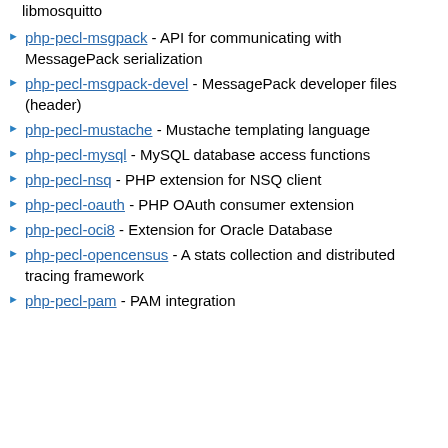libmosquitto
php-pecl-msgpack - API for communicating with MessagePack serialization
php-pecl-msgpack-devel - MessagePack developer files (header)
php-pecl-mustache - Mustache templating language
php-pecl-mysql - MySQL database access functions
php-pecl-nsq - PHP extension for NSQ client
php-pecl-oauth - PHP OAuth consumer extension
php-pecl-oci8 - Extension for Oracle Database
php-pecl-opencensus - A stats collection and distributed tracing framework
php-pecl-pam - PAM integration